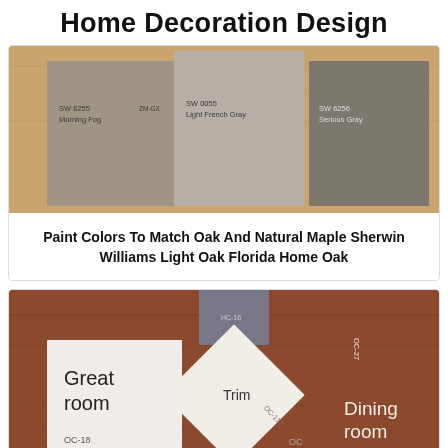Home Decoration Design
[Figure (photo): Paint color swatches leaning against a wooden surface. Three swatches visible: SW 6255 Morning Fog, SW 0055 Light French Gray, SW 6256 Serious Gray]
Paint Colors To Match Oak And Natural Maple Sherwin Williams Light Oak Florida Home Oak
[Figure (photo): Paint color swatches on a wood surface showing room color selections labeled Great room, Trim, Dining room, with codes OC-18, OC-17, OC-27 and other paint chip references including HC-16]